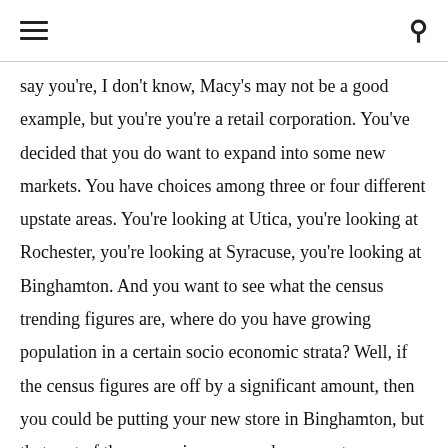say you're, I don't know, Macy's may not be a good example, but you're you're a retail corporation. You've decided that you do want to expand into some new markets. You have choices among three or four different upstate areas. You're looking at Utica, you're looking at Rochester, you're looking at Syracuse, you're looking at Binghamton. And you want to see what the census trending figures are, where do you have growing population in a certain socio economic strata? Well, if the census figures are off by a significant amount, then you could be putting your new store in Binghamton, but that part of the census is wrong and your customers are really in Rochester. So you've just